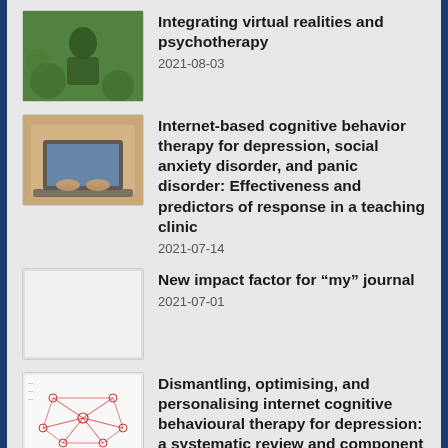Integrating virtual realities and psychotherapy
2021-08-03
Internet-based cognitive behavior therapy for depression, social anxiety disorder, and panic disorder: Effectiveness and predictors of response in a teaching clinic
2021-07-14
New impact factor for “my” journal
2021-07-01
Dismantling, optimising, and personalising internet cognitive behavioural therapy for depression: a systematic review and component network meta-analysis
2021-05-04
New meta-analysis on genes and psychotherapy outcome in anxiety disorders
2021-02-25
The Prevalence and Clinical and Sociodemographic...